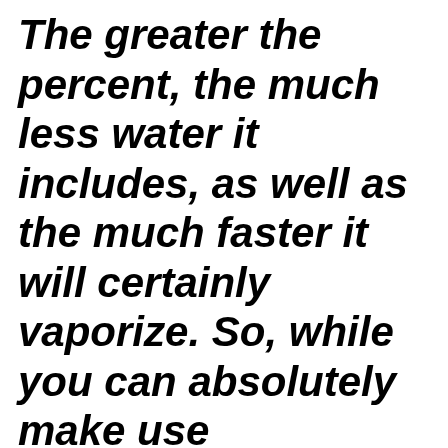The greater the percent, the much less water it includes, as well as the much faster it will certainly vaporize. So, while you can absolutely make use of(*************************** ************************ )% in this dish, you will